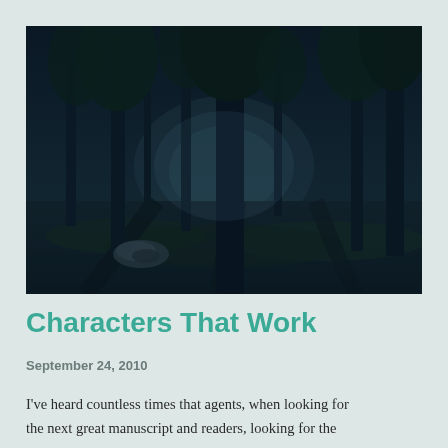[Figure (photo): Dark atmospheric forest photo with tall trees, dappled light on ground, and a rock partially visible on the left side. The image has a deep blue-green tonal quality.]
Characters That Work
September 24, 2010
I've heard countless times that agents, when looking for the next great manuscript and readers, looking for the